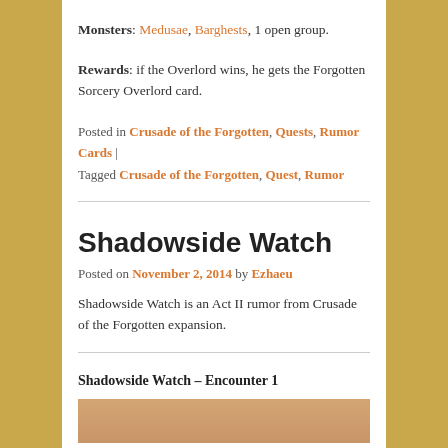Monsters: Medusae, Barghests, 1 open group.
Rewards: if the Overlord wins, he gets the Forgotten Sorcery Overlord card.
Posted in Crusade of the Forgotten, Quests, Rumor Cards | Tagged Crusade of the Forgotten, Quest, Rumor
Shadowside Watch
Posted on November 2, 2014 by Ezhaeu
Shadowside Watch is an Act II rumor from Crusade of the Forgotten expansion.
Shadowside Watch – Encounter 1
[Figure (photo): Partial image visible at bottom of page]